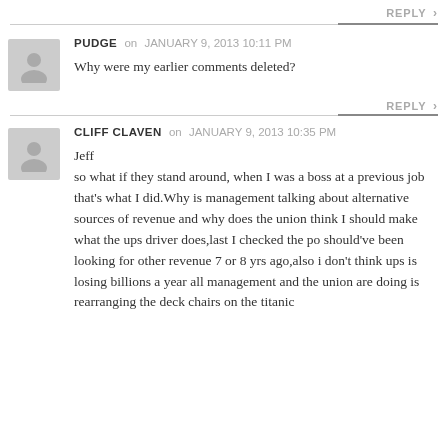REPLY ›
PUDGE on JANUARY 9, 2013 10:11 PM
Why were my earlier comments deleted?
REPLY ›
CLIFF CLAVEN on JANUARY 9, 2013 10:35 PM
Jeff
so what if they stand around, when I was a boss at a previous job that's what I did.Why is management talking about alternative sources of revenue and why does the union think I should make what the ups driver does,last I checked the po should've been looking for other revenue 7 or 8 yrs ago,also i don't think ups is losing billions a year all management and the union are doing is rearranging the deck chairs on the titanic